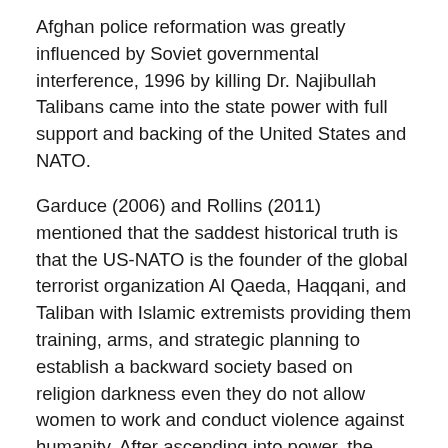Afghan police reformation was greatly influenced by Soviet governmental interference, 1996 by killing Dr. Najibullah Talibans came into the state power with full support and backing of the United States and NATO.
Garduce (2006) and Rollins (2011) mentioned that the saddest historical truth is that the US-NATO is the founder of the global terrorist organization Al Qaeda, Haqqani, and Taliban with Islamic extremists providing them training, arms, and strategic planning to establish a backward society based on religion darkness even they do not allow women to work and conduct violence against humanity. After ascending into power, the Taliban forgot the US cooperation for them and identified the US and its allies as an enemy of Islam terrorism against the USA, as a result, the Taliban lost international support due to suppression over the other religion and women, the prevented women to attaining education and working. During Taliban Rule (1996-2001) in Afghanistan, the Taliban...